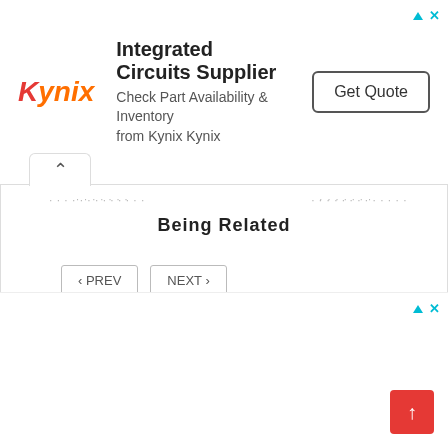[Figure (screenshot): Kynix Integrated Circuits Supplier advertisement banner with logo, text, and Get Quote button]
Being Related
‹ PREV   NEXT ›
[Figure (screenshot): Second advertisement banner area at bottom of page]
[Figure (other): Red scroll-to-top button with white upward arrow]